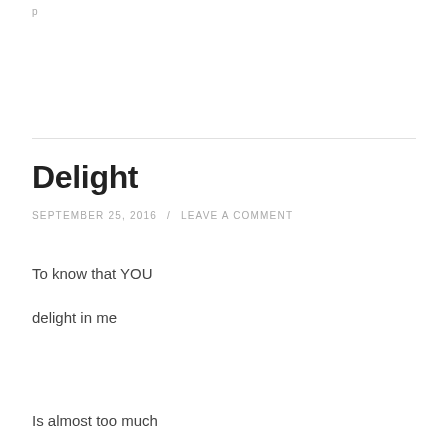p
Delight
SEPTEMBER 25, 2016 / LEAVE A COMMENT
To know that YOU
delight in me
Is almost too much